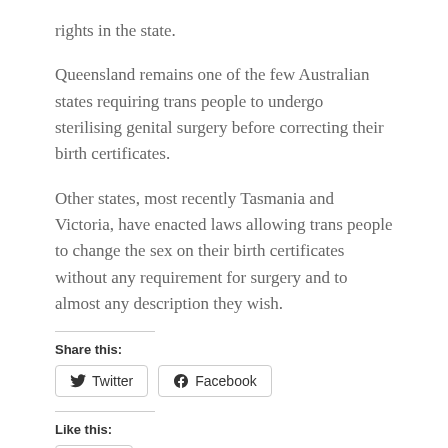rights in the state.
Queensland remains one of the few Australian states requiring trans people to undergo sterilising genital surgery before correcting their birth certificates.
Other states, most recently Tasmania and Victoria, have enacted laws allowing trans people to change the sex on their birth certificates without any requirement for surgery and to almost any description they wish.
Share this:
[Figure (other): Twitter and Facebook share buttons]
Like this:
[Figure (other): Like button]
Be the first to like this.